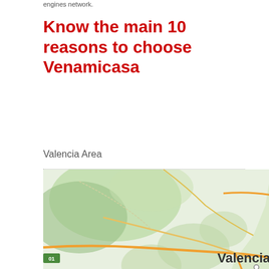engines network.
Know the main 10 reasons to choose Venamicasa
Valencia Area
[Figure (map): Map showing the Valencia area in Spain, including locations such as Villarreal, de la Plana, Valencia, and Torrent, with roads and coastline visible.]